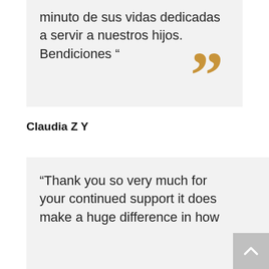minuto de sus vidas dedicadas a servir a nuestros hijos. Bendiciones ”
Claudia Z Y
“Thank you so very much for your continued support it does make a huge difference in how